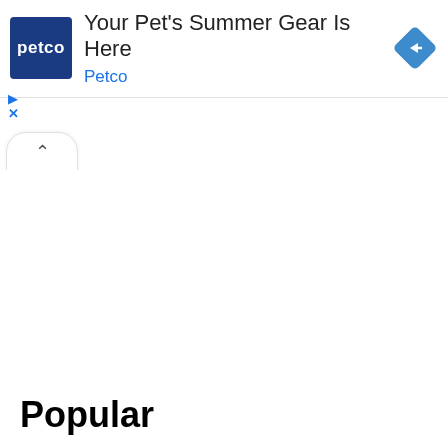[Figure (screenshot): Petco advertisement banner. Shows Petco logo (dark blue square with white 'petco' text), headline 'Your Pet's Summer Gear Is Here', brand name 'Petco' in blue, and a blue diamond navigation icon on the right. Below the banner are ad control icons (play triangle and X close button) and a collapse/chevron button.]
Popular